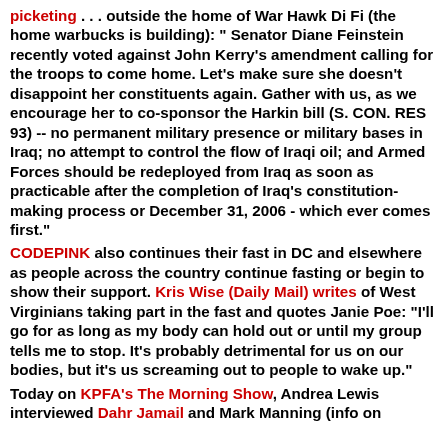picketing . . . outside the home of War Hawk Di Fi (the home warbucks is building): " Senator Diane Feinstein recently voted against John Kerry's amendment calling for the troops to come home. Let's make sure she doesn't disappoint her constituents again. Gather with us, as we encourage her to co-sponsor the Harkin bill (S. CON. RES 93) -- no permanent military presence or military bases in Iraq; no attempt to control the flow of Iraqi oil; and Armed Forces should be redeployed from Iraq as soon as practicable after the completion of Iraq's constitution-making process or December 31, 2006 - which ever comes first."
CODEPINK also continues their fast in DC and elsewhere as people across the country continue fasting or begin to show their support. Kris Wise (Daily Mail) writes of West Virginians taking part in the fast and quotes Janie Poe: "I'll go for as long as my body can hold out or until my group tells me to stop. It's probably detrimental for us on our bodies, but it's us screaming out to people to wake up."
Today on KPFA's The Morning Show, Andrea Lewis interviewed Dahr Jamail and Mark Manning (info on